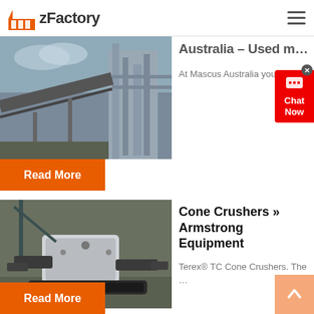zFactory
[Figure (photo): Industrial facility with conveyor belts and processing equipment]
Australia – Used m…
At Mascus Australia you can f…
Read More
[Figure (photo): Cone crusher / drilling equipment on a construction site]
Cone Crushers » Armstrong Equipment
Terex® TC Cone Crushers. The …
Read More